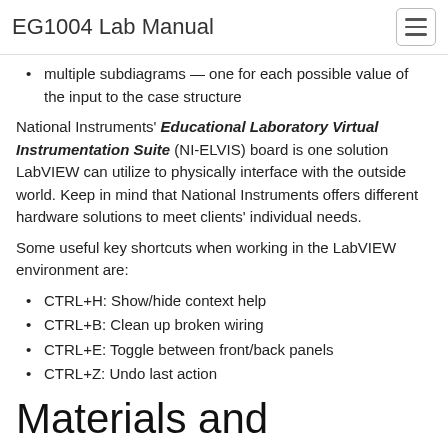EG1004 Lab Manual
multiple subdiagrams — one for each possible value of the input to the case structure
National Instruments' Educational Laboratory Virtual Instrumentation Suite (NI-ELVIS) board is one solution LabVIEW can utilize to physically interface with the outside world. Keep in mind that National Instruments offers different hardware solutions to meet clients' individual needs.
Some useful key shortcuts when working in the LabVIEW environment are:
CTRL+H: Show/hide context help
CTRL+B: Clean up broken wiring
CTRL+E: Toggle between front/back panels
CTRL+Z: Undo last action
Materials and Equipment
A lab PC
LabVIEW software
An NI-ELVIS II+ student circuit board